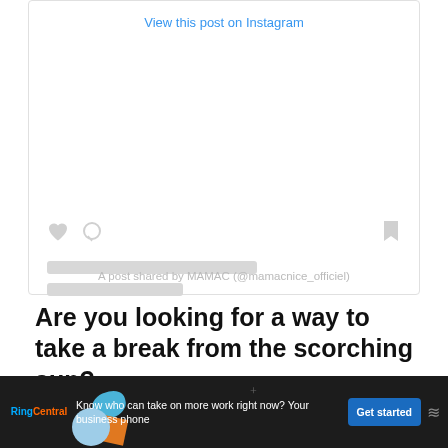[Figure (screenshot): Instagram embedded post widget with 'View this post on Instagram' link, heart and comment icons, two gray loading bars, and attribution text 'A post shared by MAMAC (@mamacnice_officiel)']
Are you looking for a way to take a break from the scorching sun?
Head to MAMAC to enjoy some shade and th...
[Figure (infographic): RingCentral advertisement banner with logo, text 'Know who can take on more work right now? Your business phone', Get started button, and decorative shapes]